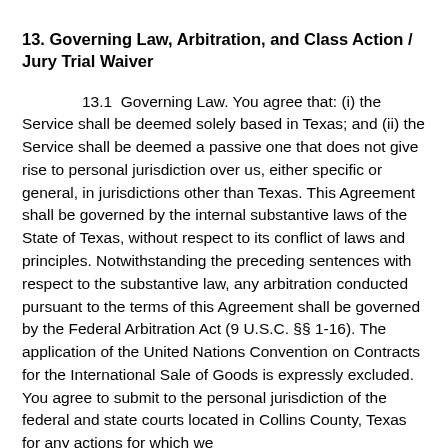13. Governing Law, Arbitration, and Class Action / Jury Trial Waiver
13.1  Governing Law. You agree that: (i) the Service shall be deemed solely based in Texas; and (ii) the Service shall be deemed a passive one that does not give rise to personal jurisdiction over us, either specific or general, in jurisdictions other than Texas. This Agreement shall be governed by the internal substantive laws of the State of Texas, without respect to its conflict of laws and principles. Notwithstanding the preceding sentences with respect to the substantive law, any arbitration conducted pursuant to the terms of this Agreement shall be governed by the Federal Arbitration Act (9 U.S.C. §§ 1-16). The application of the United Nations Convention on Contracts for the International Sale of Goods is expressly excluded. You agree to submit to the personal jurisdiction of the federal and state courts located in Collins County, Texas for any actions for which we